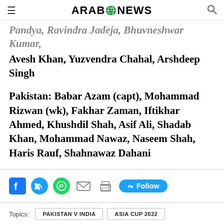Arab News
Pandya, Ravindra Jadeja, Bhuvneshwar Kumar, Avesh Khan, Yuzvendra Chahal, Arshdeep Singh
Pakistan: Babar Azam (capt), Mohammad Rizwan (wk), Fakhar Zaman, Iftikhar Ahmed, Khushdil Shah, Asif Ali, Shadab Khan, Mohammad Nawaz, Naseem Shah, Haris Rauf, Shahnawaz Dahani
Social share icons: Facebook, Twitter, WhatsApp, Email, Print, Follow on Twitter
Topics: PAKISTAN V INDIA | ASIA CUP 2022 | PAKISTAN INDIA MATCH LIVE UPDATES